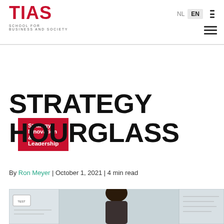TIAS School for Business and Society — NL | EN
Strategy, Innovation & Leadership
STRATEGY HOURGLASS
By Ron Meyer | October 1, 2021 | 4 min read
[Figure (photo): Person with curly hair working at a whiteboard with diagrams and sticky notes]